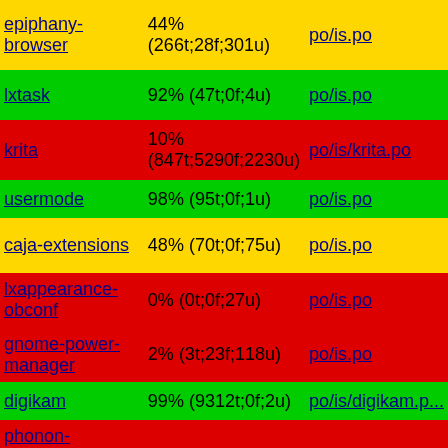| Package | Translation % | File |
| --- | --- | --- |
| epiphany-browser | 44% (266t;28f;301u) | po/is.po |
| lxtask | 92% (47t;0f;4u) | po/is.po |
| krita | 10% (847t;5290f;2230u) | po/is/krita.po |
| usermode | 98% (95t;0f;1u) | po/is.po |
| caja-extensions | 48% (70t;0f;75u) | po/is.po |
| lxappearance-obconf | 0% (0t;0f;27u) | po/is.po |
| gnome-power-manager | 2% (3t;23f;118u) | po/is.po |
| digikam | 99% (9312t;0f;2u) | po/is/digikam.po |
| phonon-backend-gstreamer | 0% (0t;5f;10u) | po/is/phonon_... |